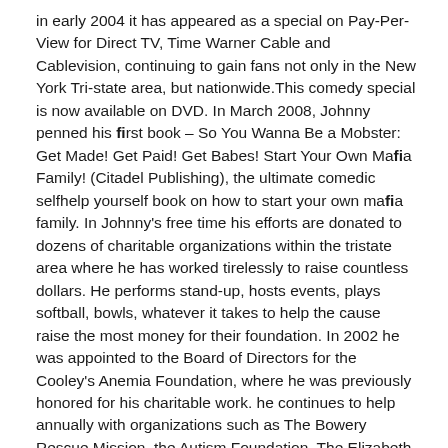in early 2004 it has appeared as a special on Pay-Per-View for Direct TV, Time Warner Cable and Cablevision, continuing to gain fans not only in the New York Tri-state area, but nationwide.This comedy special is now available on DVD. In March 2008, Johnny penned his first book – So You Wanna Be a Mobster: Get Made! Get Paid! Get Babes! Start Your Own Mafia Family! (Citadel Publishing), the ultimate comedic selfhelp yourself book on how to start your own mafia family. In Johnny's free time his efforts are donated to dozens of charitable organizations within the tristate area where he has worked tirelessly to raise countless dollars. He performs stand-up, hosts events, plays softball, bowls, whatever it takes to help the cause raise the most money for their foundation. In 2002 he was appointed to the Board of Directors for the Cooley's Anemia Foundation, where he was previously honored for his charitable work. he continues to help annually with organizations such as The Bowery Rescue Mission, the Autism Foundation, The Elizabeth Fund for Lupus and many police organizations, as well as many others.